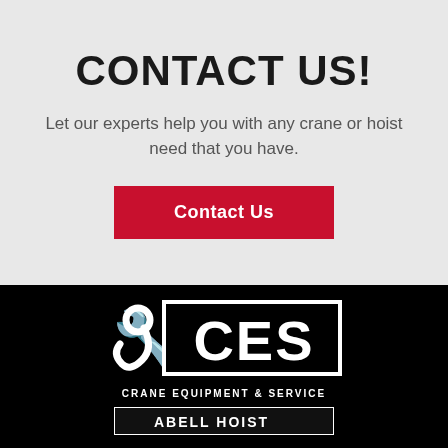CONTACT US!
Let our experts help you with any crane or hoist need that you have.
Contact Us
[Figure (logo): CES Crane Equipment & Service logo — white hook icon beside white CES letters in a black-bordered rectangle, with 'CRANE EQUIPMENT & SERVICE' text below, on black background]
[Figure (logo): Partially visible second logo bar at bottom of page on black background]